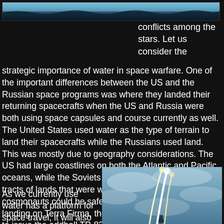[Figure (photo): Ocean or water surface aerial image at top of page]
conflicts among the stars. Let us consider the strategic importance of water in space warfare. One of the important differences between the US and the Russian space programs was where they landed their returning spacecrafts when the US and Russia were both using space capsules and course currently as well. The United States used water as the type of terrain to land their spacecrafts while the Russians used land. This was mostly due to geography considerations. The US had large coastlines on both the Atlantic and Pacific oceans, while the Soviets did not. Russian did have vast tracts of lands that were well within their borders and the cosmonauts could be safety picked up. Due to their landing on Terra Firma, the Soviet Space Program used to issue the oddball TP-82 Survival Gun in the Soyuz capsules due to the likelihood of landing in a isolated and dangerous part of the Russian wilderness.
As we currently use water has a platform for space travel, it will also
[Figure (illustration): Illustration of spacecraft or rocket launching with light streaks against a cloudy sky]